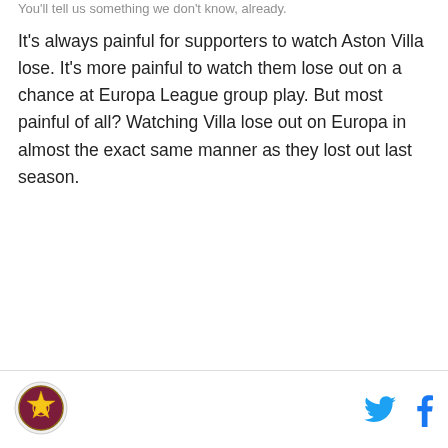You'll tell us something we don't know, already.
It's always painful for supporters to watch Aston Villa lose. It's more painful to watch them lose out on a chance at Europa League group play. But most painful of all? Watching Villa lose out on Europa in almost the exact same manner as they lost out last season.
[Logo] [Twitter] [Facebook]